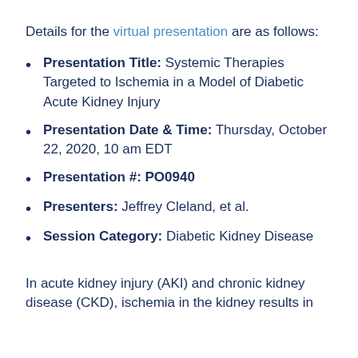Details for the virtual presentation are as follows:
Presentation Title: Systemic Therapies Targeted to Ischemia in a Model of Diabetic Acute Kidney Injury
Presentation Date & Time: Thursday, October 22, 2020, 10 am EDT
Presentation #: PO0940
Presenters: Jeffrey Cleland, et al.
Session Category: Diabetic Kidney Disease
In acute kidney injury (AKI) and chronic kidney disease (CKD), ischemia in the kidney results in